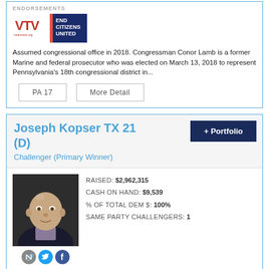ENDORSEMENTS
[Figure (logo): VTV (Veterans) logo and End Citizens United logo]
Assumed congressional office in 2018. Congressman Conor Lamb is a former Marine and federal prosecutor who was elected on March 13, 2018 to represent Pennsylvania's 18th congressional district in...
PA 17
More Detail
Joseph Kopser TX 21 (D)
Challenger (Primary Winner)
[Figure (photo): Headshot photo of Joseph Kopser, a bald man in a suit]
RAISED: $2,962,315
CASH ON HAND: $9,539
% OF TOTAL DEM $: 100%
SAME PARTY CHALLENGERS: 1